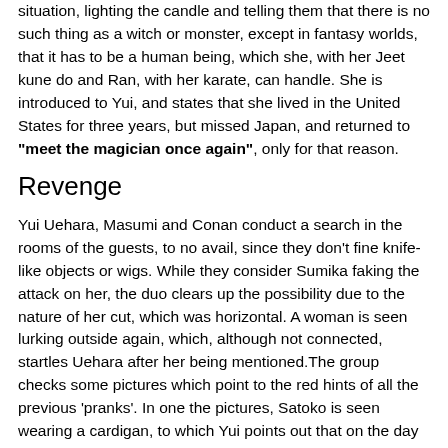situation, lighting the candle and telling them that there is no such thing as a witch or monster, except in fantasy worlds, that it has to be a human being, which she, with her Jeet kune do and Ran, with her karate, can handle. She is introduced to Yui, and states that she lived in the United States for three years, but missed Japan, and returned to "meet the magician once again", only for that reason.
Revenge
Yui Uehara, Masumi and Conan conduct a search in the rooms of the guests, to no avail, since they don't fine knife-like objects or wigs. While they consider Sumika faking the attack on her, the duo clears up the possibility due to the nature of her cut, which was horizontal. A woman is seen lurking outside again, which, although not connected, startles Uehara after her being mentioned.The group checks some pictures which point to the red hints of all the previous 'pranks'. In one the pictures, Satoko is seen wearing a cardigan, to which Yui points out that on the day she was found she was wearing a red coat. She points out that the ones who found the knife 3 years ago were Kansuke Yamato and Taka'aki Morofushi, while they